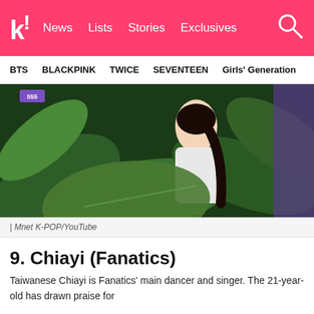k! News Lists Stories Exclusives
BTS BLACKPINK TWICE SEVENTEEN Girls' Generation
[Figure (photo): Young Asian woman with long dark hair among large tropical green leaves, wearing white top. Purple badge with '555' in top-left corner.]
| Mnet K-POP/YouTube
9. Chiayi (Fanatics)
Taiwanese Chiayi is Fanatics' main dancer and singer. The 21-year-old has drawn praise for...